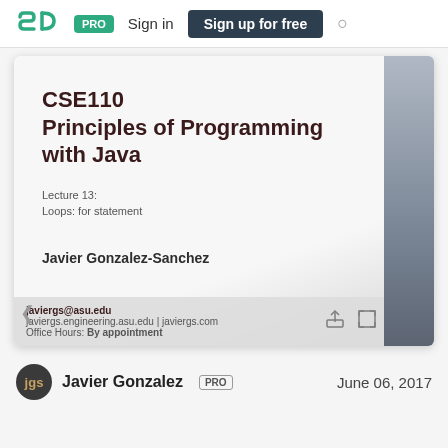[Figure (screenshot): SpeakerDeck website screenshot showing a slide preview for CSE110 Principles of Programming with Java, Lecture 13: Loops for statement, by Javier Gonzalez-Sanchez. Navigation bar with logo, PRO badge, Sign in, Sign up for free button, and search icon. Slide thumbnail shows title slide content and contact info overlay.]
Javier Gonzalez  PRO   June 06, 2017